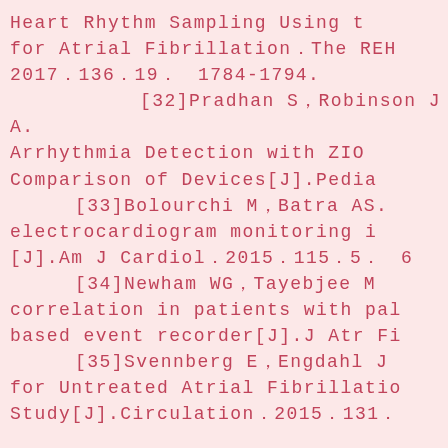Heart Rhythm Sampling Using t for Atrial Fibrillation。The REH 2017。136。19。、1784-1794.
[32]Pradhan S、Robinson JA. Arrhythmia Detection with ZIO Comparison of Devices[J].Pedia
[33]Bolourchi M、Batra AS. electrocardiogram monitoring i [J].Am J Cardiol。2015。115。5。。6
[34]Newham WG、Tayebjee M correlation in patients with pal based event recorder[J].J Atr Fi
[35]Svennberg E、Engdahl J for Untreated Atrial Fibrillatio Study[J].Circulation。2015。131。